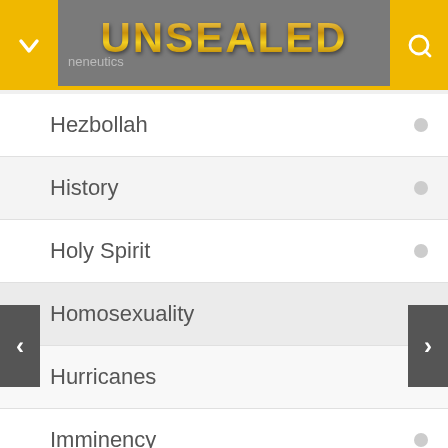UNSEALED
Hezbollah
History
Holy Spirit
Homosexuality
Hurricanes
Imminency
Iraq
Isaiah 17
ISIS
Islam